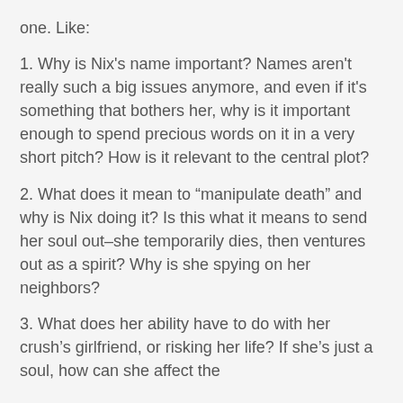one. Like:
1. Why is Nix's name important? Names aren't really such a big issues anymore, and even if it's something that bothers her, why is it important enough to spend precious words on it in a very short pitch? How is it relevant to the central plot?
2. What does it mean to “manipulate death” and why is Nix doing it? Is this what it means to send her soul out–she temporarily dies, then ventures out as a spirit? Why is she spying on her neighbors?
3. What does her ability have to do with her crush’s girlfriend, or risking her life? If she’s just a soul, how can she affect the